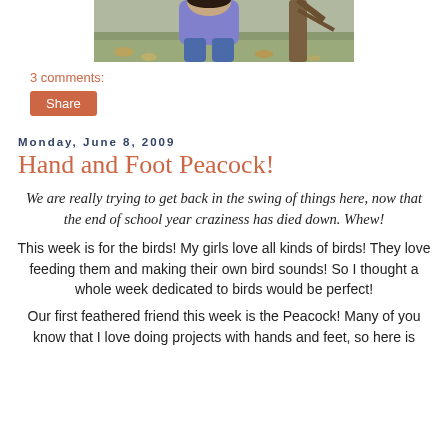[Figure (photo): Child standing outdoors near a tree, wearing a purple jacket and jeans, with autumn leaves on the ground. Top portion of the image visible.]
3 comments:
Share
Monday, June 8, 2009
Hand and Foot Peacock!
We are really trying to get back in the swing of things here, now that the end of school year craziness has died down. Whew!
This week is for the birds! My girls love all kinds of birds! They love feeding them and making their own bird sounds! So I thought a whole week dedicated to birds would be perfect!
Our first feathered friend this week is the Peacock! Many of you know that I love doing projects with hands and feet, so here is